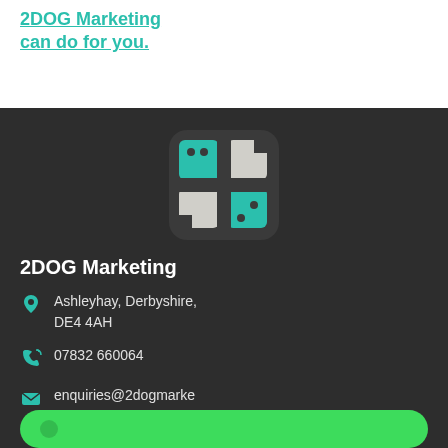2DOG Marketing can do for you.
[Figure (logo): 2DOG Marketing logo — stylized dog face made of geometric teal and grey shapes on dark rounded square background]
2DOG Marketing
Ashleyhay, Derbyshire, DE4 4AH
07832 660064
enquiries@2dogmarketing.co.uk